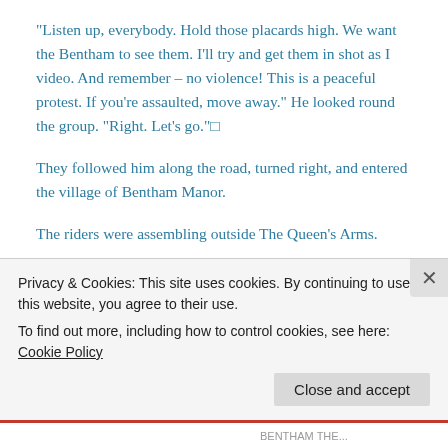“Listen up, everybody. Hold those placards high. We want the Bentham to see them. I’ll try and get them in shot as I video. And remember – no violence! This is a peaceful protest. If you’re assaulted, move away.” He looked round the group. “Right. Let’s go.”□
They followed him along the road, turned right, and entered the village of Bentham Manor.
The riders were assembling outside The Queen’s Arms.
“Uh-oh. Looks like we’ve got company,”□ Arthur muttered to Jack.
“Do you want me to see them off?”□ Brian looked eager,
Privacy & Cookies: This site uses cookies. By continuing to use this website, you agree to their use.
To find out more, including how to control cookies, see here: Cookie Policy